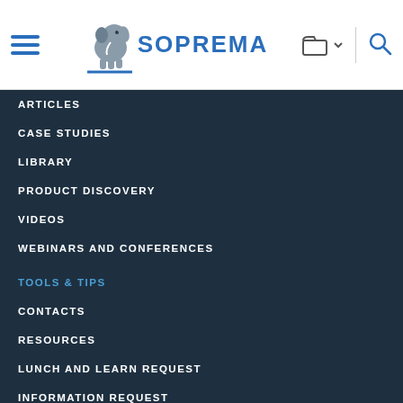[Figure (logo): SOPREMA elephant logo with text]
ARTICLES
CASE STUDIES
LIBRARY
PRODUCT DISCOVERY
VIDEOS
WEBINARS AND CONFERENCES
TOOLS & TIPS
CONTACTS
RESOURCES
LUNCH AND LEARN REQUEST
INFORMATION REQUEST